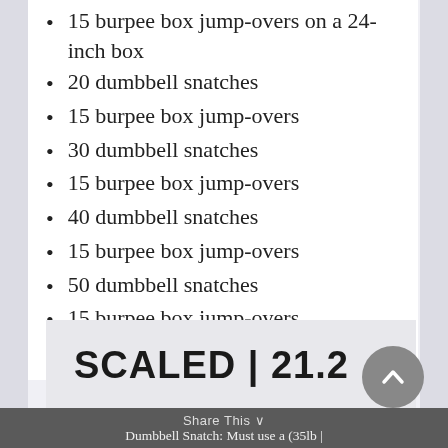15 burpee box jump-overs on a 24-inch box
20 dumbbell snatches
15 burpee box jump-overs
30 dumbbell snatches
15 burpee box jump-overs
40 dumbbell snatches
15 burpee box jump-overs
50 dumbbell snatches
15 burpee box jump-overs
SCALED | 21.2
Share This  Dumbbell Snatch: Must use a (35lb |